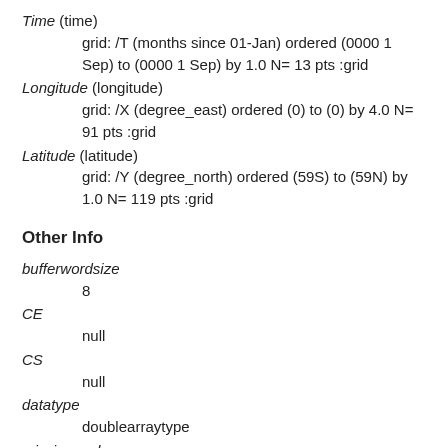Time (time)
    grid: /T (months since 01-Jan) ordered (0000 1 Sep) to (0000 1 Sep) by 1.0 N= 13 pts :grid
Longitude (longitude)
    grid: /X (degree_east) ordered (0) to (0) by 4.0 N= 91 pts :grid
Latitude (latitude)
    grid: /Y (degree_north) ordered (59S) to (59N) by 1.0 N= 119 pts :grid
Other Info
bufferwordsize
    8
CE
    null
CS
    null
datatype
    doublearraytype
missing_value
    NaN